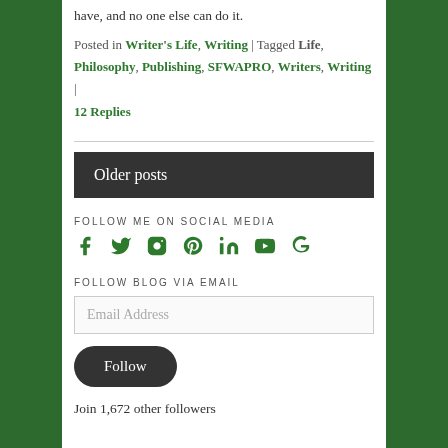have, and no one else can do it.
Posted in Writer's Life, Writing | Tagged Life, Philosophy, Publishing, SFWAPRO, Writers, Writing | 12 Replies
Older posts
FOLLOW ME ON SOCIAL MEDIA
[Figure (infographic): Social media icons: Facebook, Twitter, Instagram, Pinterest, LinkedIn, YouTube, Google+]
FOLLOW BLOG VIA EMAIL
Email Address
Follow
Join 1,672 other followers